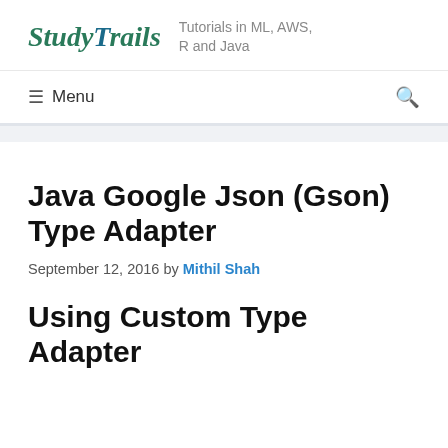StudyTrails — Tutorials in ML, AWS, R and Java
≡ Menu
Java Google Json (Gson) Type Adapter
September 12, 2016 by Mithil Shah
Using Custom Type Adapter